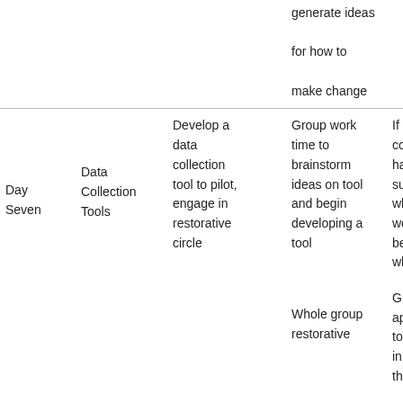|  |  |  |  |  |
| --- | --- | --- | --- | --- |
|  |  |  | generate ideas for how to make change |  |
| Day Seven | Data Collection Tools | Develop a data collection tool to pilot, engage in restorative circle | Group work time to brainstorm ideas on tool and begin developing a tool | If you could have any superpower, what would it be and why? |
|  |  |  | Whole group restorative | Give an appreciation to anyone in the circle |